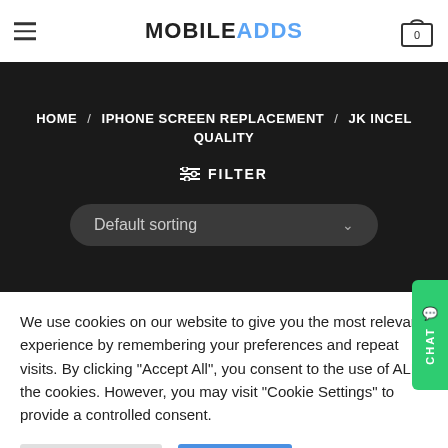MOBILEADDS
HOME / IPHONE SCREEN REPLACEMENT / JK INCEL QUALITY
FILTER
Default sorting
We use cookies on our website to give you the most relevant experience by remembering your preferences and repeat visits. By clicking "Accept All", you consent to the use of ALL the cookies. However, you may visit "Cookie Settings" to provide a controlled consent.
Cookie Settings | Accept All